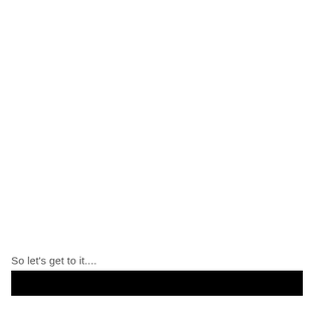So let's get to it....
[Figure (other): Black rectangular bar at the bottom of the page]